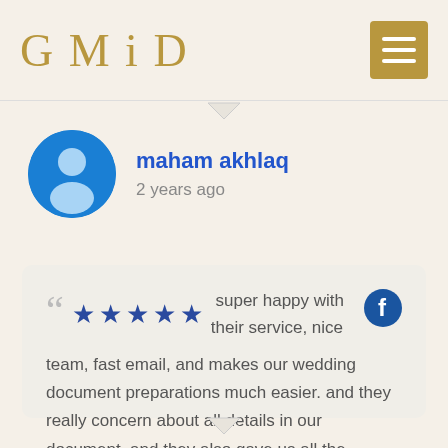[Figure (logo): GMiD logo in gold serif font]
maham akhlaq
2 years ago
super happy with their service, nice team, fast email, and makes our wedding document preparations much easier. and they really concern about all details in our document. and they also gave us all the information about the city, transportation, hotel,etc after we choose the wedding town hall. they will make sure